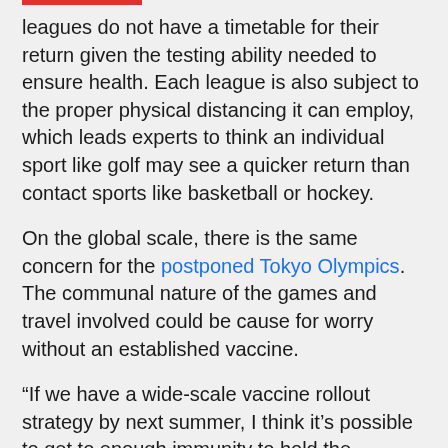leagues do not have a timetable for their return given the testing ability needed to ensure health. Each league is also subject to the proper physical distancing it can employ, which leads experts to think an individual sport like golf may see a quicker return than contact sports like basketball or hockey.
On the global scale, there is the same concern for the postponed Tokyo Olympics. The communal nature of the games and travel involved could be cause for worry without an established vaccine.
“If we have a wide-scale vaccine rollout strategy by next summer, I think it’s possible to get to enough immunity to hold the Olympics,” Favini said. “Looking at how things are unfolding, by next summer we will still be in an environment where even though we may open day-to-day society, we still may not be in a place to open a big global event for people from all over the world to be